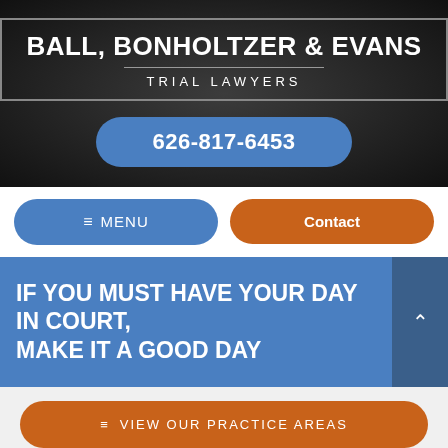BALL, BONHOLTZER & EVANS
TRIAL LAWYERS
626-817-6453
≡ MENU
Contact
IF YOU MUST HAVE YOUR DAY IN COURT, MAKE IT A GOOD DAY
≡ VIEW OUR PRACTICE AREAS
How to drive again after a fatal car accident